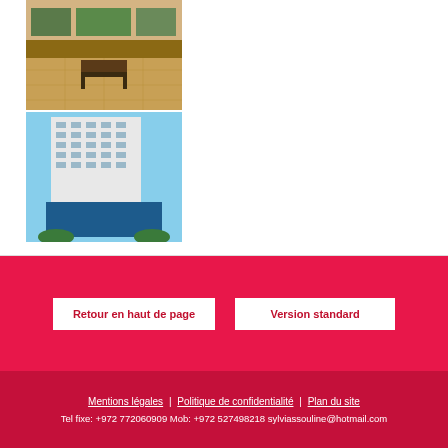[Figure (photo): Interior photo of a lobby area with marble floor tiles and a bench, warm golden tones]
[Figure (photo): Exterior photo of a tall white high-rise building against a blue sky, with blue glass accents at the base]
Retour en haut de page
Version standard
Mentions légales | Politique de confidentialité | Plan du site
Tel fixe: +972 772060909 Mob: +972 527498218 sylviassouline@hotmail.com